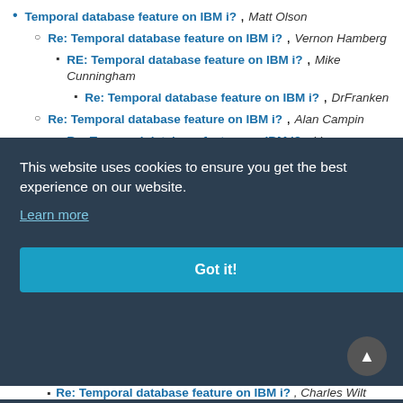Temporal database feature on IBM i? , Matt Olson
Re: Temporal database feature on IBM i? , Vernon Hamberg
RE: Temporal database feature on IBM i? , Mike Cunningham
Re: Temporal database feature on IBM i? , DrFranken
Re: Temporal database feature on IBM i? , Alan Campin
Re: Temporal database feature on IBM i? , Vernon Hamberg
RE: Temporal database feature on IBM i? , Matt Olson
Re: Temporal database feature on IBM i? , Vernon Hamberg
Re: Temporal database feature on IBM i? , Dan
Re: Temporal database feature on IBM i? , Vernon Hamberg
Re: Temporal database feature on IBM i? , DrFranken
RE: Temporal database feature on IBM i? , Jim Oberholtzer
Re: Temporal database feature on IBM i? , Charles Wilt
This website uses cookies to ensure you get the best experience on our website. Learn more
Got it!